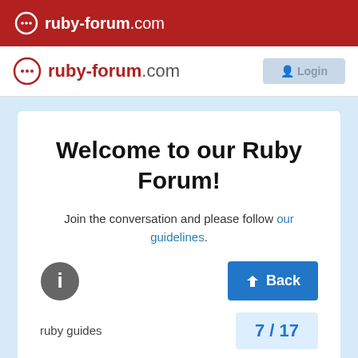ruby-forum.com
[Figure (screenshot): Ruby Forum website navigation bar with logo and login button]
Welcome to our Ruby Forum!
Join the conversation and please follow our guidelines.
[Figure (illustration): Info icon (letter i in a dark circle)]
ruby guides
7 / 17